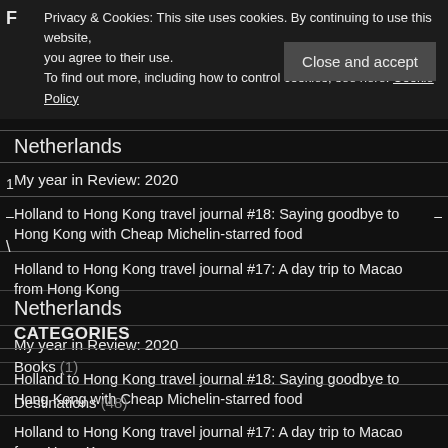Privacy & Cookies: This site uses cookies. By continuing to use this website, you agree to their use. To find out more, including how to control cookies, see here: Cookie Policy
Close and accept
Netherlands
My year in Review: 2020
Holland to Hong Kong travel journal #18: Saying goodbye to Hong Kong with Cheap Michelin-starred food
Holland to Hong Kong travel journal #17: A day trip to Macao from Hong Kong
CATEGORIES
Books (1)
Destinations (48)